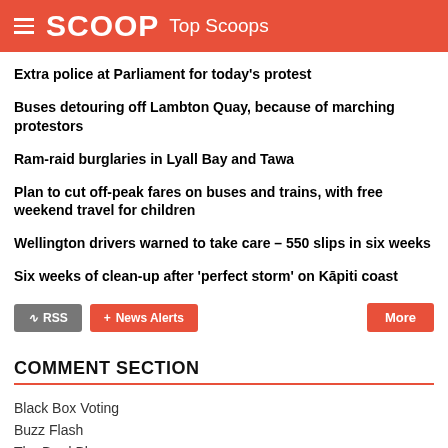SCOOP Top Scoops
Extra police at Parliament for today's protest
Buses detouring off Lambton Quay, because of marching protestors
Ram-raid burglaries in Lyall Bay and Tawa
Plan to cut off-peak fares on buses and trains, with free weekend travel for children
Wellington drivers warned to take care – 550 slips in six weeks
Six weeks of clean-up after 'perfect storm' on Kāpiti coast
COMMENT SECTION
Black Box Voting
Buzz Flash
The Brad Blog
Democracy Now